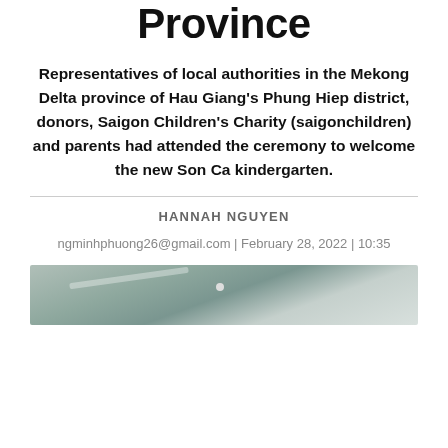Province
Representatives of local authorities in the Mekong Delta province of Hau Giang's Phung Hiep district, donors, Saigon Children's Charity (saigonchildren) and parents had attended the ceremony to welcome the new Son Ca kindergarten.
HANNAH NGUYEN
ngminhphuong26@gmail.com | February 28, 2022 | 10:35
[Figure (photo): Aerial or interior photograph of Son Ca kindergarten building, showing a light-colored interior space with ceiling lights.]